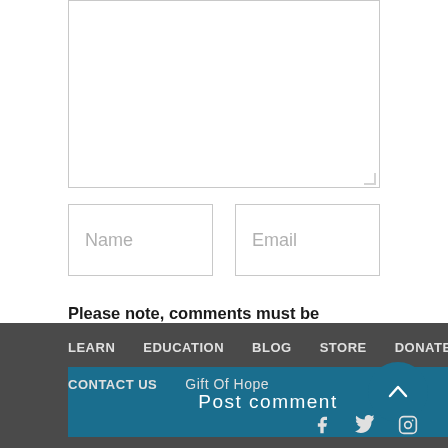[Figure (screenshot): Text area input box (empty, white, with resize handle at bottom-right)]
[Figure (screenshot): Name text input field (empty, with placeholder 'Name')]
[Figure (screenshot): Email text input field (empty, with placeholder 'Email')]
Please note, comments must be approved before they are published
[Figure (screenshot): Post comment button (dark teal background, white text)]
LEARN  EDUCATION  BLOG  STORE  DONATE  CONTACT US  Gift Of Hope
[Figure (screenshot): Scroll-to-top circular button (teal, with up chevron icon)]
[Figure (screenshot): Social media icons: Facebook, Twitter, Instagram]